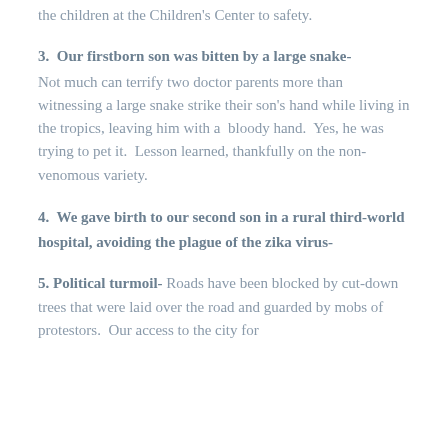the children at the Children's Center to safety.
3.  Our firstborn son was bitten by a large snake- Not much can terrify two doctor parents more than witnessing a large snake strike their son's hand while living in the tropics, leaving him with a  bloody hand.  Yes, he was trying to pet it.  Lesson learned, thankfully on the non-venomous variety.
4.  We gave birth to our second son in a rural third-world hospital, avoiding the plague of the zika virus-
5. Political turmoil- Roads have been blocked by cut-down trees that were laid over the road and guarded by mobs of protestors.  Our access to the city for